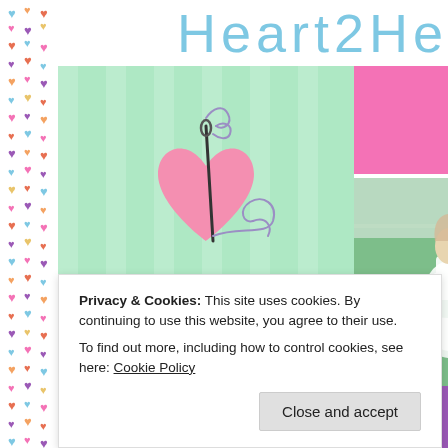[Figure (illustration): Colorful hearts pattern sidebar on the left edge]
Heart2He
[Figure (logo): Sewing logo on mint green striped background with needle through a pink heart and text: sewing, crafts & custom things]
[Figure (photo): Pink bar at top right, then photo of woman in white dress in a field]
Privacy & Cookies: This site uses cookies. By continuing to use this website, you agree to their use.
To find out more, including how to control cookies, see here: Cookie Policy
Close and accept